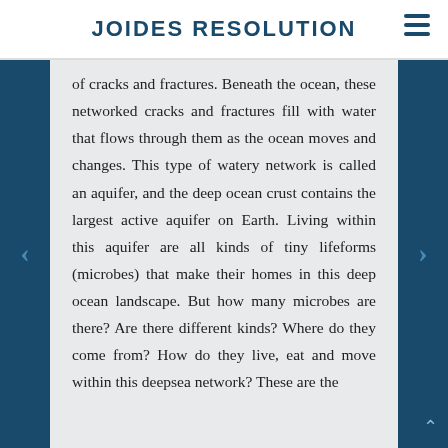JOIDES RESOLUTION
of cracks and fractures. Beneath the ocean, these networked cracks and fractures fill with water that flows through them as the ocean moves and changes. This type of watery network is called an aquifer, and the deep ocean crust contains the largest active aquifer on Earth. Living within this aquifer are all kinds of tiny lifeforms (microbes) that make their homes in this deep ocean landscape. But how many microbes are there? Are there different kinds? Where do they come from? How do they live, eat and move within this deepsea network? These are the